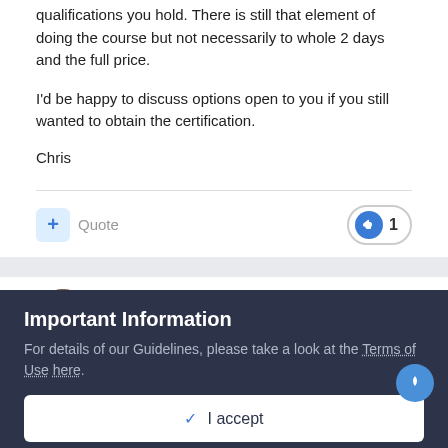There are options open to you though dependant on what qualifications you hold. There is still that element of doing the course but not necessarily to whole 2 days and the full price.
I'd be happy to discuss options open to you if you still wanted to obtain the certification.
Chris
+ Quote  👍 1
C.Ricko
Posted October 2, 2015
Important Information
For details of our Guidelines, please take a look at the Terms of Use here.
✓ I accept